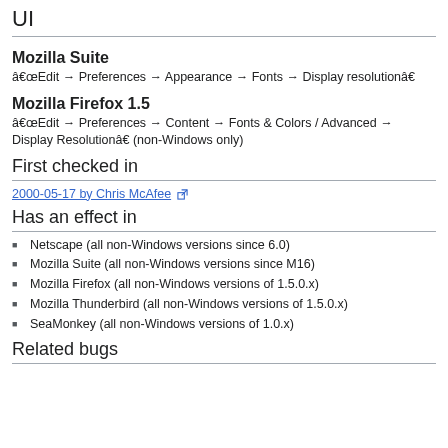UI
Mozilla Suite
â€œEdit → Preferences → Appearance → Fonts → Display resolutionâ€‎
Mozilla Firefox 1.5
â€œEdit → Preferences → Content → Fonts & Colors / Advanced → Display Resolutionâ€‎ (non-Windows only)
First checked in
2000-05-17 by Chris McAfee [external link]
Has an effect in
Netscape (all non-Windows versions since 6.0)
Mozilla Suite (all non-Windows versions since M16)
Mozilla Firefox (all non-Windows versions of 1.5.0.x)
Mozilla Thunderbird (all non-Windows versions of 1.5.0.x)
SeaMonkey (all non-Windows versions of 1.0.x)
Related bugs